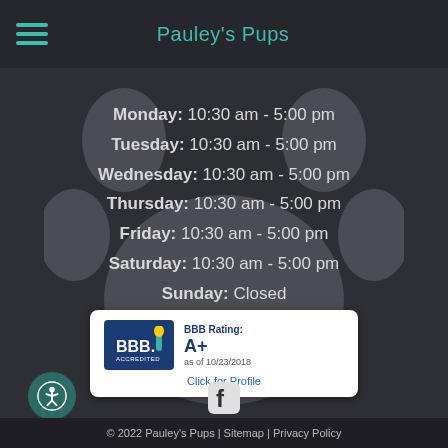Pauley's Pups
Monday: 10:30 am – 5:00 pm
Tuesday: 10:30 am – 5:00 pm
Wednesday: 10:30 am – 5:00 pm
Thursday: 10:30 am – 5:00 pm
Friday: 10:30 am – 5:00 pm
Saturday: 10:30 am – 5:00 pm
Sunday: Closed
[Figure (logo): BBB Accredited Business badge with A+ rating as of 10/23/2018, Click for Profile]
[Figure (logo): Facebook icon]
© 2022 Pauley's Pups | Sitemap | Privacy Policy